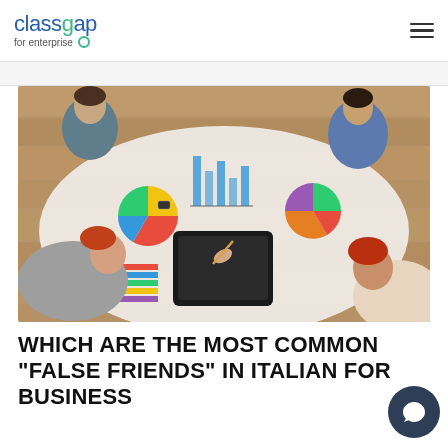classgap for enterprise
[Figure (photo): Overhead view of four people around a table with charts, graphs, and a tablet, collaborating on business data]
WHICH ARE THE MOST COMMON "FALSE FRIENDS" IN ITALIAN FOR BUSINESS